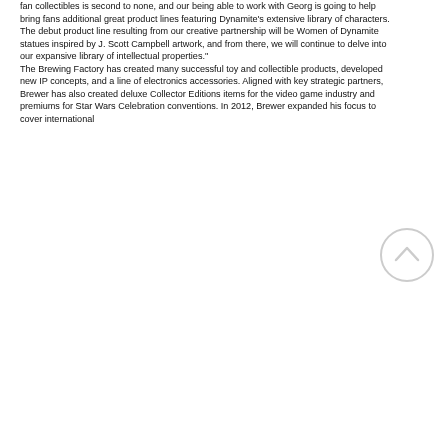fan collectibles is second to none, and our being able to work with Georg is going to help bring fans additional great product lines featuring Dynamite's extensive library of characters. The debut product line resulting from our creative partnership will be Women of Dynamite statues inspired by J. Scott Campbell artwork, and from there, we will continue to delve into our expansive library of intellectual properties."
The Brewing Factory has created many successful toy and collectible products, developed new IP concepts, and a line of electronics accessories. Aligned with key strategic partners, Brewer has also created deluxe Collector Editions items for the video game industry and premiums for Star Wars Celebration conventions. In 2012, Brewer expanded his focus to cover international